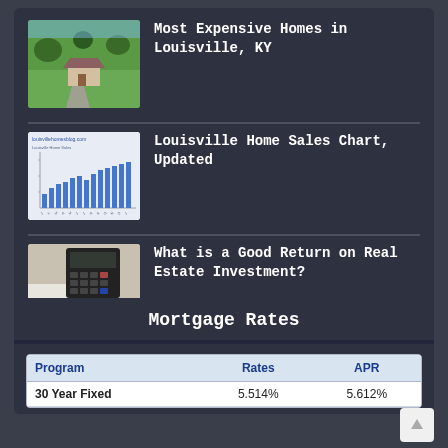[Figure (photo): Aerial view of a large house with green lawn and driveway]
Most Expensive Homes in Louisville, KY
[Figure (bar-chart): Louisville Home Sales bar chart from louisvillehomesblog.com]
Louisville Home Sales Chart, Updated
[Figure (photo): Person writing at desk with calculator and laptop keyboard visible]
What is a Good Return on Real Estate Investment?
Mortgage Rates
| Program | Rates | APR |
| --- | --- | --- |
| 30 Year Fixed | 5.514% | 5.612% |